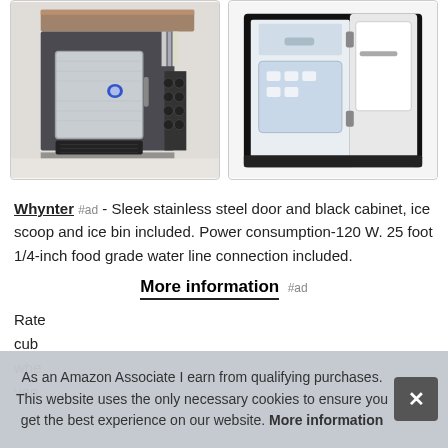[Figure (photo): Two product images side by side: left shows a stainless steel under-counter ice maker installed in a kitchen with dark cabinetry and a kitchen island; right shows an open ice maker with stainless interior and door open.]
Whynter #ad - Sleek stainless steel door and black cabinet, ice scoop and ice bin included. Power consumption-120 W. 25 foot 1/4-inch food grade water line connection included.
More information #ad
Rate cub whe ven
As an Amazon Associate I earn from qualifying purchases. This website uses the only necessary cookies to ensure you get the best experience on our website. More information